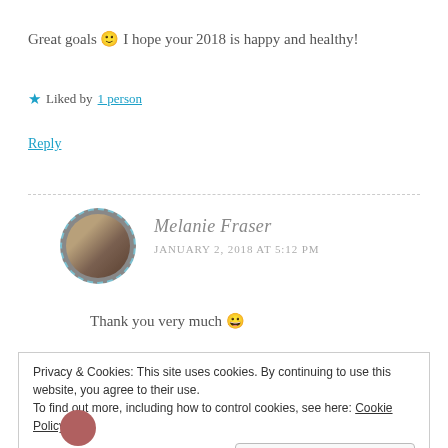Great goals 🙂 I hope your 2018 is happy and healthy!
★ Liked by 1 person
Reply
Melanie Fraser
JANUARY 2, 2018 AT 5:12 PM
Thank you very much 😀
Privacy & Cookies: This site uses cookies. By continuing to use this website, you agree to their use.
To find out more, including how to control cookies, see here: Cookie Policy
Close and accept